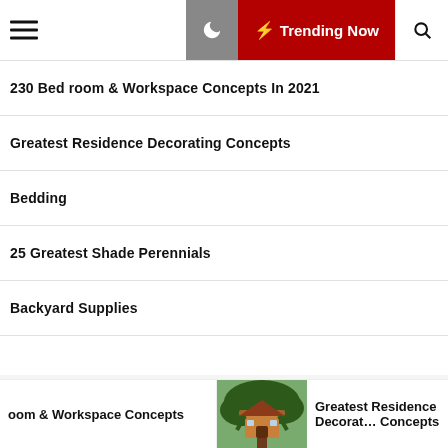Navigation bar with hamburger menu, moon/dark mode icon, Trending Now button, and search icon
230 Bed room & Workspace Concepts In 2021
Greatest Residence Decorating Concepts
Bedding
25 Greatest Shade Perennials
Backyard Supplies
Archives
August 2022
oom & Workspace Concepts | [treehouse image] | Greatest Residence Decorating Concepts